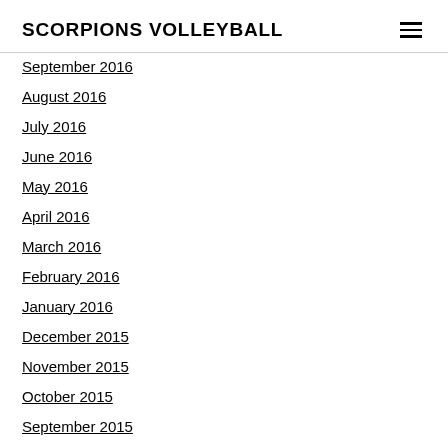SCORPIONS VOLLEYBALL
September 2016
August 2016
July 2016
June 2016
May 2016
April 2016
March 2016
February 2016
January 2016
December 2015
November 2015
October 2015
September 2015
August 2015
July 2015
June 2015
May 2015